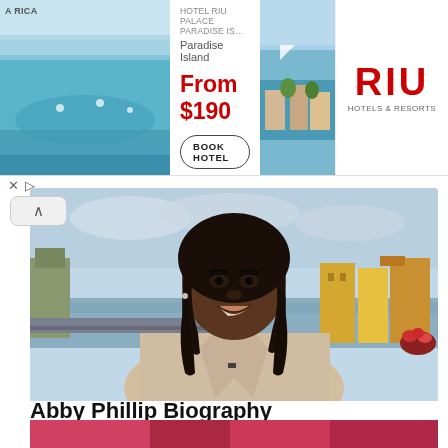[Figure (screenshot): Hotel RIU Palace Paradise Island advertisement banner with pool image, hotel details showing 'From $190', Book Hotel button, resort image, and RIU Hotels & Resorts logo]
[Figure (photo): Abby Phillip, a Black woman with long dark hair, wearing a beige/cream blazer, smiling, with a waterfront city background with colorful buildings]
Abby Phillip Biography
Abigail Daniella Phillip AKA Abby Phillip is a CNN political correspondent and weekend anchor who hails from the …
Wealthy Spy
[Figure (photo): Partial bottom image showing red/pink colored fabric or clothing items]